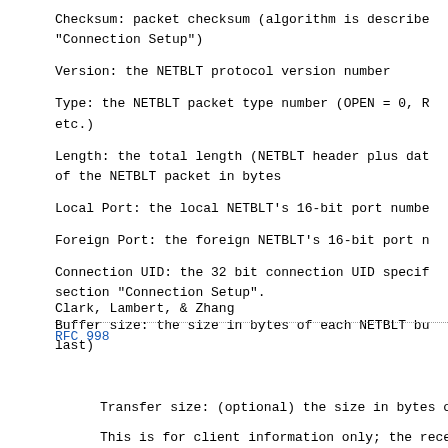Checksum: packet checksum (algorithm is described "Connection Setup")
Version: the NETBLT protocol version number
Type: the NETBLT packet type number (OPEN = 0, R etc.)
Length: the total length (NETBLT header plus dat of the NETBLT packet in bytes
Local Port: the local NETBLT's 16-bit port numbe
Foreign Port: the foreign NETBLT's 16-bit port n
Connection UID: the 32 bit connection UID specif section "Connection Setup".
Buffer size: the size in bytes of each NETBLT bu last)
Clark, Lambert, & Zhang
RFC 998
Transfer size: (optional) the size in bytes of t
This is for client information only; the receivi